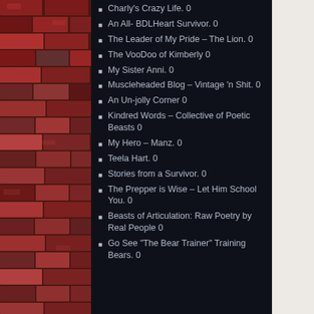Charly's Crazy Life. 0
An All- BDLHeart Survivor. 0
The Leader of My Pride – The Lion. 0
The VooDoo of Kimberly 0
My Sister Anni. 0
Muscleheaded Blog – Vintage 'n Shit. 0
An Un-jolly Corner 0
Kindred Words – Collective of Poetic Beasts 0
My Hero – Manz. 0
Teela Hart. 0
Stories from a Survivor. 0
The Prepper is Wise – Let Him School You. 0
Beasts of Articulation: Raw Poetry by Real People 0
Go See "The Bear Trainer" Training Bears. 0